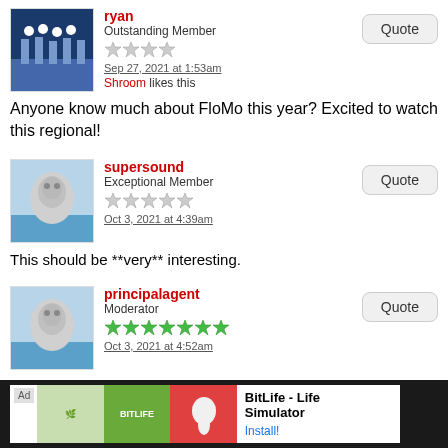[Figure (other): User avatar for ryan - marching band photo]
ryan
Outstanding Member
★★★★ (4 grey stars)
Sep 27, 2021 at 1:53am
Shroom likes this
Quote
Anyone know much about FloMo this year? Excited to watch this regional!
[Figure (other): Default user avatar for supersound]
supersound
Exceptional Member
★★★★★ (5 grey stars)
Oct 3, 2021 at 4:39am
Quote
This should be **very** interesting.
[Figure (other): Default user avatar for principalagent]
principalagent
Moderator
★★★★★★★ (7 green stars)
Oct 3, 2021 at 4:52am
Quote
The way I see it, Flower Mound's magic number is 90. If they hit it (or extremely close), they're probably keeping parity with TWHS and Reagan, setting Texas up for a possible 2003 GN situation. If they're lower than 88
[Figure (other): Advertisement banner: BitLife - Life Simulator]